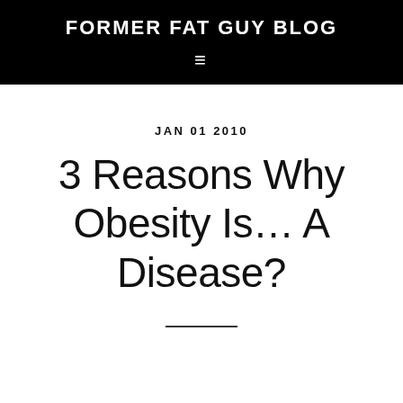FORMER FAT GUY BLOG
JAN 01 2010
3 Reasons Why Obesity Is… A Disease?